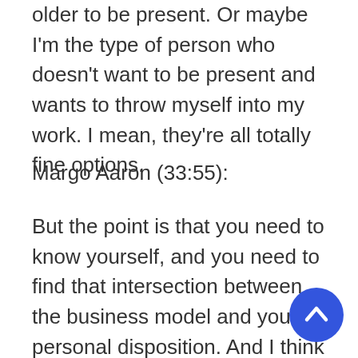older to be present. Or maybe I'm the type of person who doesn't want to be present and wants to throw myself into my work. I mean, they're all totally fine options.
Margo Aaron (33:55):
But the point is that you need to know yourself, and you need to find that intersection between the business model and your personal disposition. And I think that's how I define product founder fit. We talk so much about product
[Figure (other): Blue circular scroll-to-top button with upward chevron arrow icon, positioned at bottom right of page]